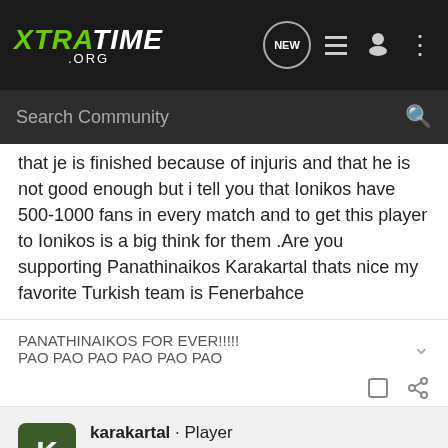XTRATIME .ORG — Search Community
that je is finished because of injuris and that he is not good enough but i tell you that Ionikos have 500-1000 fans in every match and to get this player to Ionikos is a big think for them .Are you supporting Panathinaikos Karakartal thats nice my favorite Turkish team is Fenerbahce
PANATHINAIKOS FOR EVER!!!!!
PAO PAO PAO PAO PAO PAO
karakartal · Player
Joined Jun 25, 2000 · 431 Posts